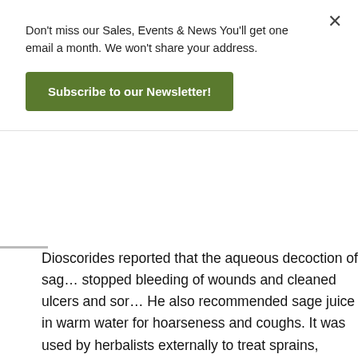Don't miss our Sales, Events & News You'll get one email a month. We won't share your address.
Subscribe to our Newsletter!
Dioscorides reported that the aqueous decotion of sage stopped bleeding of wounds and cleaned ulcers and sores. He also recommended sage juice in warm water for hoarseness and coughs. It was used by herbalists externally to treat sprains, swelling, ulcers, and bleeding.
Internally, a tea made from sage leaves has had a long history of use to treat sore throats and coughs, often by gargling. It was also used by herbalists for rheumatism, excessive menstrual bleeding, and to dry up a mother's milk when nursing was stopped. It was particularly noted for strengthening the nervous system, improving memo...